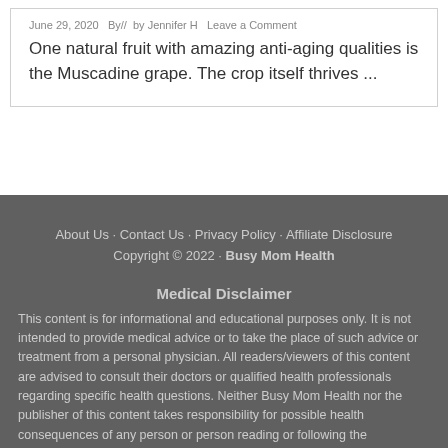June 29, 2020   By//   by Jennifer H   Leave a Comment
One natural fruit with amazing anti-aging qualities is the Muscadine grape. The crop itself thrives ...
About Us · Contact Us · Privacy Policy · Affiliate Disclosure
Copyright © 2022 · Busy Mom Health
Medical Disclaimer
This content is for informational and educational purposes only. It is not intended to provide medical advice or to take the place of such advice or treatment from a personal physician. All readers/viewers of this content are advised to consult their doctors or qualified health professionals regarding specific health questions. Neither Busy Mom Health nor the publisher of this content takes responsibility for possible health consequences of any person or person reading or following the information in this educational...